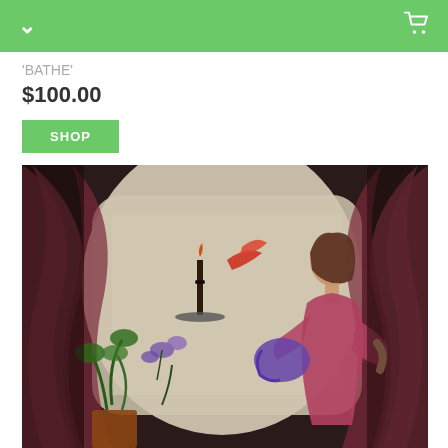navigation header with chevron and cart icon
'BATHE'
$100.00
SHOP
[Figure (illustration): A painting titled 'Bathe' showing a figure in profile (right side) in a reddish-pink dress, appearing to pour or hold something, set against a light background with red/pink curtains on both sides, a candle on a plate, a red bird, and purple flowers/orchids in the lower left. The background has text-like texture suggesting collage elements.]